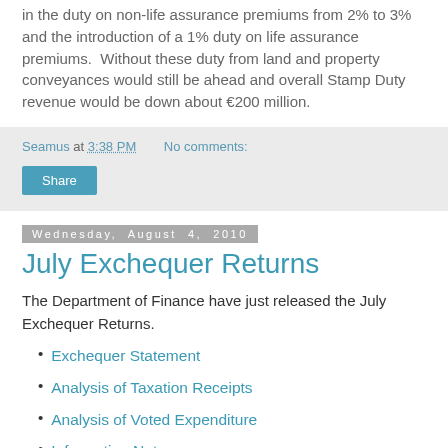in the duty on non-life assurance premiums from 2% to 3% and the introduction of a 1% duty on life assurance premiums.  Without these duty from land and property conveyances would still be ahead and overall Stamp Duty revenue would be down about €200 million.
Seamus at 3:38 PM    No comments:
Share
Wednesday, August 4, 2010
July Exchequer Returns
The Department of Finance have just released the July Exchequer Returns.
Exchequer Statement
Analysis of Taxation Receipts
Analysis of Voted Expenditure
Information Note